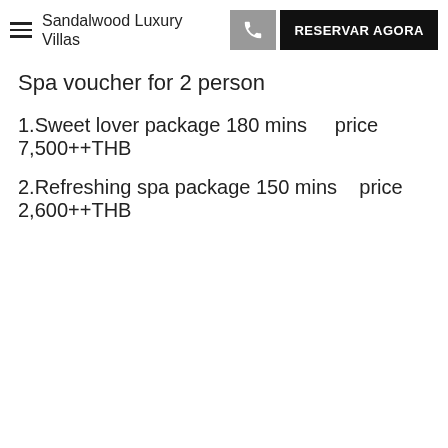Sandalwood Luxury Villas | RESERVAR AGORA
Spa voucher for 2 person
1.Sweet lover package 180 mins    price 7,500++THB
2.Refreshing spa package 150 mins   price 2,600++THB